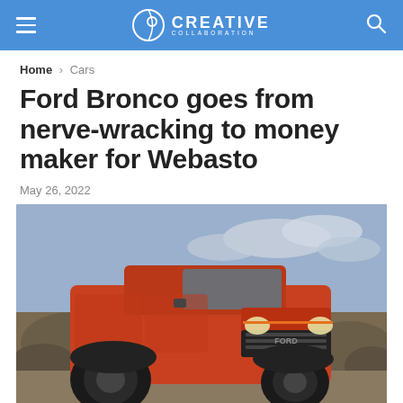CREATIVE COLLABORATION
Home > Cars
Ford Bronco goes from nerve-wracking to money maker for Webasto
May 26, 2022
[Figure (photo): Orange Ford Bronco Raptor on rocky terrain against a cloudy sky, front three-quarter view]